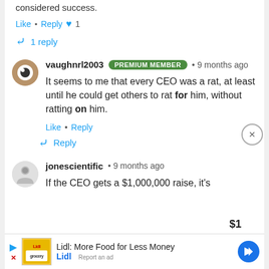considered success.
Like • Reply ♥ 1
↩ 1 reply
vaughnrl2003 PREMIUM MEMBER • 9 months ago
It seems to me that every CEO was a rat, at least until he could get others to rat for him, without ratting on him.
Like • Reply
↩ Reply
jonescientific • 9 months ago
If the CEO gets a $1,000,000 raise, it's
Lidl: More Food for Less Money
Lidl